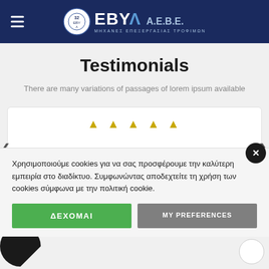ΕΒΥΛ Α.Ε.Β.Ε. ΜΗΧΑΝΕΣ ΕΠΕΞΕΡΓΑΣΙΑΣ ΤΡΟΦΙΜΩΝ
Testimonials
There are many variations of passages of lorem ipsum available
[Figure (screenshot): Testimonial card with 5 gold stars rating and navigation arrows]
Χρησιμοποιούμε cookies για να σας προσφέρουμε την καλύτερη εμπειρία στο διαδίκτυο. Συμφωνώντας αποδεχτείτε τη χρήση των cookies σύμφωνα με την πολιτική cookie.
ΔΕΧΟΜΑΙ
MY PREFERENCES